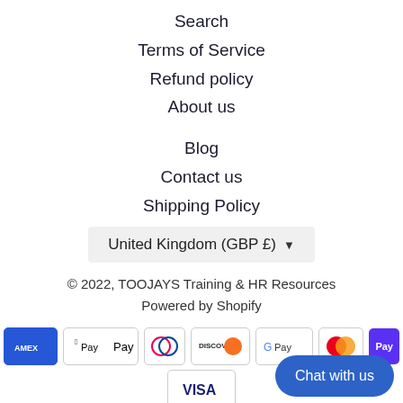Search
Terms of Service
Refund policy
About us
Blog
Contact us
Shipping Policy
United Kingdom (GBP £) ▼
© 2022, TOOJAYS Training & HR Resources
Powered by Shopify
[Figure (other): Payment method icons: American Express, Apple Pay, Diners Club, Discover, Google Pay, Mastercard, Shop Pay, Visa. Also a 'Chat with us' button overlay.]